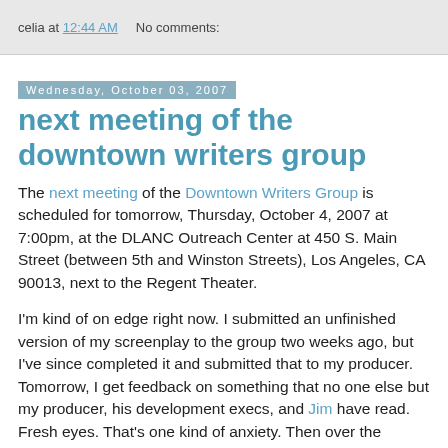celia at 12:44 AM    No comments:
Wednesday, October 03, 2007
next meeting of the downtown writers group
The next meeting of the Downtown Writers Group is scheduled for tomorrow, Thursday, October 4, 2007 at 7:00pm, at the DLANC Outreach Center at 450 S. Main Street (between 5th and Winston Streets), Los Angeles, CA 90013, next to the Regent Theater.
I'm kind of on edge right now. I submitted an unfinished version of my screenplay to the group two weeks ago, but I've since completed it and submitted that to my producer. Tomorrow, I get feedback on something that no one else but my producer, his development execs, and Jim have read. Fresh eyes. That's one kind of anxiety. Then over the weekend, I get to meet with one of my producer's